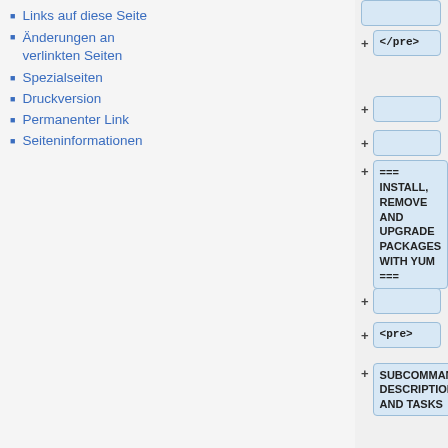Links auf diese Seite
Änderungen an verlinkten Seiten
Spezialseiten
Druckversion
Permanenter Link
Seiteninformationen
+ </pre>
+
+
+ === INSTALL, REMOVE AND UPGRADE PACKAGES WITH YUM ===
+
+ <pre>
+ SUBCOMMAND DESCRIPTIONS AND TASKS
+ install    Install a package from a repository to your system
+ yum install